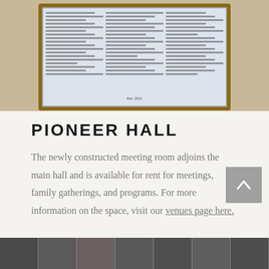[Figure (photo): A framed donor recognition board with names listed in columns, mounted in a wooden frame, displayed against a warm beige background. The document shows 'Est. 2011' at the bottom.]
PIONEER HALL
The newly constructed meeting room adjoins the main hall and is available for rent for meetings, family gatherings, and programs. For more information on the space, visit our venues page here.
[Figure (photo): Bottom strip showing partial thumbnail images of what appears to be interior or exterior venue photos in grayscale.]